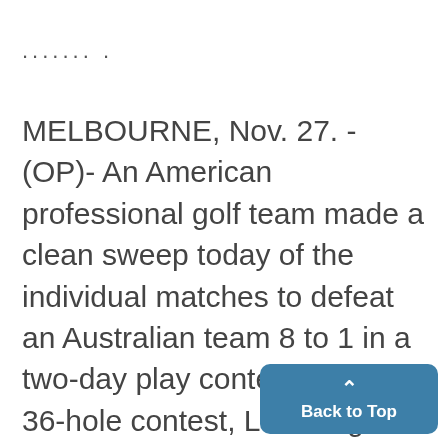....... .
MELBOURNE, Nov. 27. - (OP)- An American professional golf team made a clean sweep today of the individual matches to defeat an Australian team 8 to 1 in a two-day play contest. In the 36-hole contest, Leo Diegel beat Rufus Steward, 8 and 7; Craig Wood conquered Ted Naismight, 5 and 4; Denny Shute beat Lou K... 5 and 4; Harry Cooper downed ...gus McMahon by the same score; Paul...